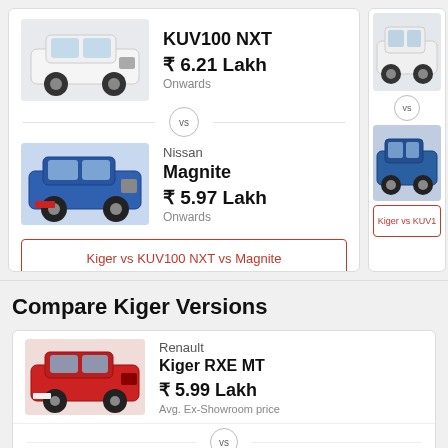[Figure (photo): White SUV (Mahindra KUV100 NXT) thumbnail]
KUV100 NXT
₹ 6.21 Lakh
Onwards
[Figure (photo): Blue SUV (Nissan Magnite) thumbnail]
Nissan
Magnite
₹ 5.97 Lakh
Onwards
Kiger vs KUV100 NXT vs Magnite
[Figure (photo): Partial white SUV thumbnail (right card)]
[Figure (photo): Partial blue Tata SUV thumbnail (right card)]
Kiger vs KUV1...
Compare Kiger Versions
[Figure (photo): Red Renault Kiger RXE MT car photo]
Renault
Kiger RXE MT
₹ 5.99 Lakh
Avg. Ex-Showroom price
Renault Kiger RXL MT